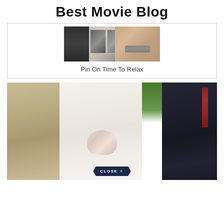Best Movie Blog
[Figure (photo): Close-up photo showing lower half of a man's face with a grey mustache, with movie posters or magazine covers visible in background]
Pin On Time To Relax
[Figure (photo): Wedding photo showing a bride in white dress kissing a groom in a tan suit, with a man in dark suit visible on the right, green trees in background. A 'CLOSE X' button overlay appears at the bottom center.]